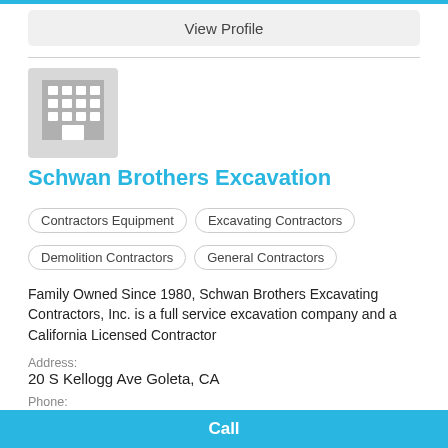View Profile
[Figure (logo): Gray building/office placeholder logo icon with grid of windows]
Schwan Brothers Excavation
Contractors Equipment
Excavating Contractors
Demolition Contractors
General Contractors
Family Owned Since 1980, Schwan Brothers Excavating Contractors, Inc. is a full service excavation company and a California Licensed Contractor
Address:
20 S Kellogg Ave Goleta, CA
Phone:
(805) 683-5116
Call